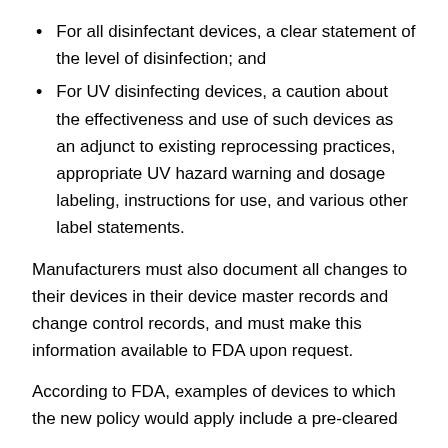For all disinfectant devices, a clear statement of the level of disinfection; and
For UV disinfecting devices, a caution about the effectiveness and use of such devices as an adjunct to existing reprocessing practices, appropriate UV hazard warning and dosage labeling, instructions for use, and various other label statements.
Manufacturers must also document all changes to their devices in their device master records and change control records, and must make this information available to FDA upon request.
According to FDA, examples of devices to which the new policy would apply include a pre-cleared